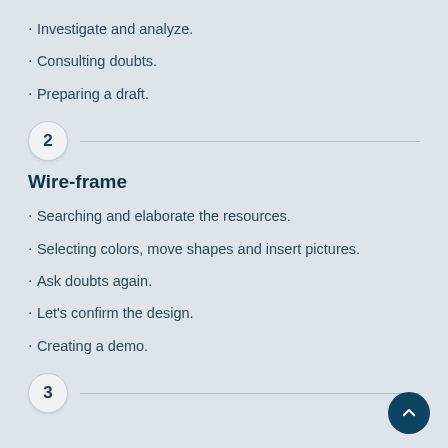Investigate and analyze.
Consulting doubts.
Preparing a draft.
2
Wire-frame
Searching and elaborate the resources.
Selecting colors, move shapes and insert pictures.
Ask doubts again.
Let's confirm the design.
Creating a demo.
3